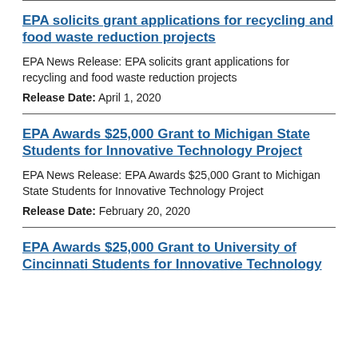EPA solicits grant applications for recycling and food waste reduction projects
EPA News Release: EPA solicits grant applications for recycling and food waste reduction projects
Release Date: April 1, 2020
EPA Awards $25,000 Grant to Michigan State Students for Innovative Technology Project
EPA News Release: EPA Awards $25,000 Grant to Michigan State Students for Innovative Technology Project
Release Date: February 20, 2020
EPA Awards $25,000 Grant to University of Cincinnati Students for Innovative Technology